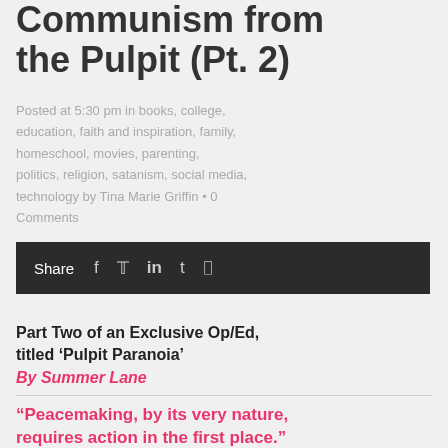Communism from the Pulpit (Pt. 2)
Posted at 5:30 pm in books, college, education, faith and inspiration, family, homeschool, movies, parenting, politics, religion, satanism, social media, technology by Tina Marie Griffin • 0 Comments
Share
Part Two of an Exclusive Op/Ed, titled 'Pulpit Paranoia'
By Summer Lane
“Peacemaking, by its very nature, requires action in the first place.”